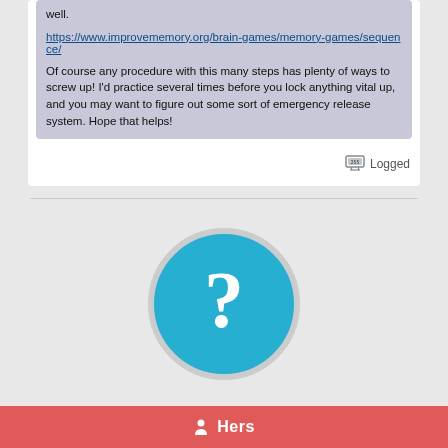well.
https://www.improvememory.org/brain-games/memory-games/sequence/
Of course any procedure with this many steps has plenty of ways to screw up!  I'd practice several times before you lock anything vital up, and you may want to figure out some sort of emergency release system.  Hope that helps!
Logged
[Figure (illustration): Teal circle with white question mark, representing an unknown or guest user avatar]
Hers